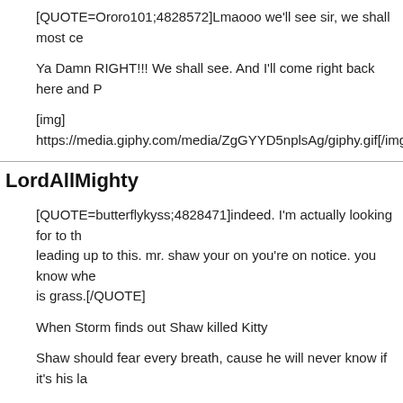[QUOTE=Ororo101;4828572]Lmaooo we'll see sir, we shall most ce
Ya Damn RIGHT!!! We shall see. And I'll come right back here and P
[img] https://media.giphy.com/media/ZgGYYD5nplsAg/giphy.gif[/img
LordAllMighty
[QUOTE=butterflykyss;4828471]indeed. I'm actually looking for to th leading up to this. mr. shaw your on you're on notice. you know whe is grass.[/QUOTE]
When Storm finds out Shaw killed Kitty
Shaw should fear every breath, cause he will never know if it's his la
Literally
Ororo101
[QUOTE=stormphoenix;4828576]Ya Damn RIGHT!!! We shall see. A here and PM you and say: